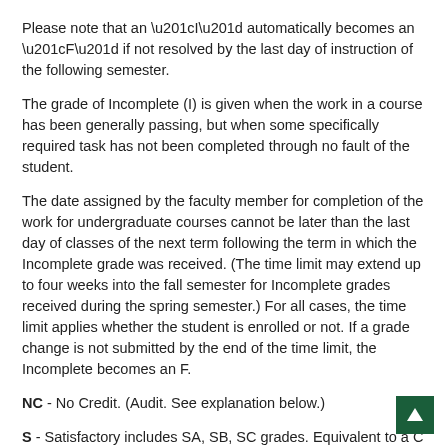Please note that an “I” automatically becomes an “F” if not resolved by the last day of instruction of the following semester.
The grade of Incomplete (I) is given when the work in a course has been generally passing, but when some specifically required task has not been completed through no fault of the student.
The date assigned by the faculty member for completion of the work for undergraduate courses cannot be later than the last day of classes of the next term following the term in which the Incomplete grade was received. (The time limit may extend up to four weeks into the fall semester for Incomplete grades received during the spring semester.) For all cases, the time limit applies whether the student is enrolled or not. If a grade change is not submitted by the end of the time limit, the Incomplete becomes an F.
NC - No Credit. (Audit. See explanation below.)
S - Satisfactory includes SA, SB, SC grades. Equivalent to a C or better.
T - Temporary. A designation given at the end of the term when a course is scheduled to be continued beyond one term.